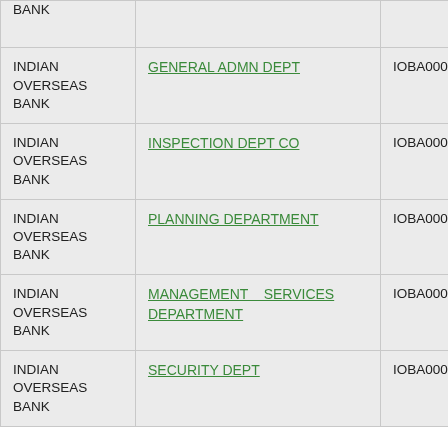| Bank Name | Department | IFSC | Status |
| --- | --- | --- | --- |
| INDIAN OVERSEAS BANK |  | BANK |  | WAIT |
| INDIAN OVERSEAS BANK | GENERAL ADMN DEPT | IOBA0009011 | WAIT |
| INDIAN OVERSEAS BANK | INSPECTION DEPT CO | IOBA0009012 | WAIT |
| INDIAN OVERSEAS BANK | PLANNING DEPARTMENT | IOBA0009015 | WAIT |
| INDIAN OVERSEAS BANK | MANAGEMENT SERVICES DEPARTMENT | IOBA0009017 | WAIT |
| INDIAN OVERSEAS BANK | SECURITY DEPT | IOBA0009020 | WAIT |